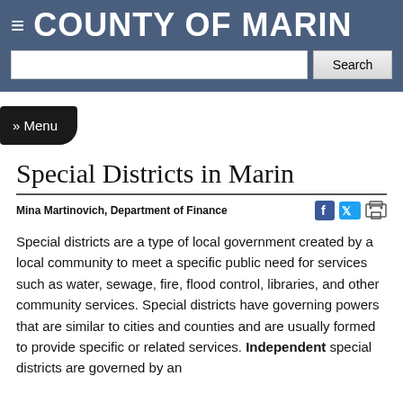COUNTY OF MARIN
Special Districts in Marin
Mina Martinovich, Department of Finance
Special districts are a type of local government created by a local community to meet a specific public need for services such as water, sewage, fire, flood control, libraries, and other community services. Special districts have governing powers that are similar to cities and counties and are usually formed to provide specific or related services. Independent special districts are governed by an